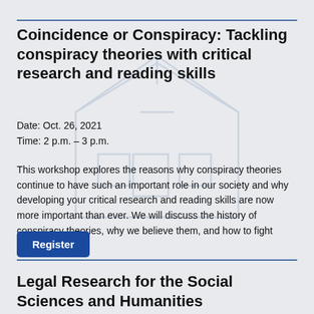Coincidence or Conspiracy: Tackling conspiracy theories with critical research and reading skills
Date: Oct. 26, 2021
Time: 2 p.m. – 3 p.m.
This workshop explores the reasons why conspiracy theories continue to have such an important role in our society and why developing your critical research and reading skills are now more important than ever. We will discuss the history of conspiracy theories, why we believe them, and how to fight them.
Register
Legal Research for the Social Sciences and Humanities